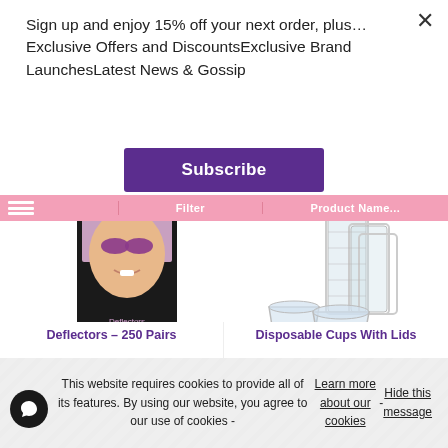Sign up and enjoy 15% off your next order, plus…Exclusive Offers and DiscountsExclusive Brand LaunchesLatest News & Gossip
Subscribe
Filter   Product Name...
[Figure (photo): Product photo of Deflectors peel & protect eye shields box with woman's face showing purple eye shadow and a roll of circular stickers]
Deflectors – 250 Pairs
[Figure (photo): Product photo of disposable plastic cups with lids stacked together]
Disposable Cups With Lids
This website requires cookies to provide all of its features. By using our website, you agree to our use of cookies - Learn more about our cookies - Hide this message